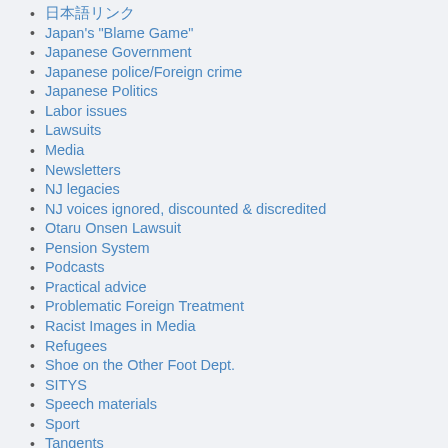日本語リンク
Japan's "Blame Game"
Japanese Government
Japanese police/Foreign crime
Japanese Politics
Labor issues
Lawsuits
Media
Newsletters
NJ legacies
NJ voices ignored, discounted & discredited
Otaru Onsen Lawsuit
Pension System
Podcasts
Practical advice
Problematic Foreign Treatment
Racist Images in Media
Refugees
Shoe on the Other Foot Dept.
SITYS
Speech materials
Sport
Tangents